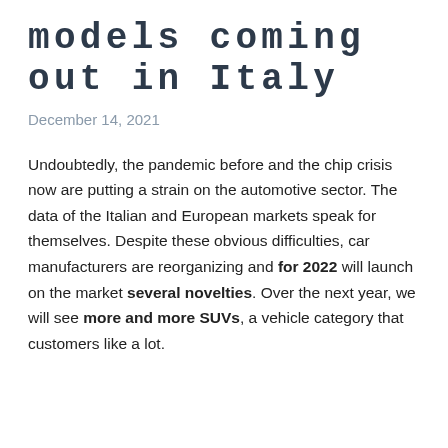models coming out in Italy
December 14, 2021
Undoubtedly, the pandemic before and the chip crisis now are putting a strain on the automotive sector. The data of the Italian and European markets speak for themselves. Despite these obvious difficulties, car manufacturers are reorganizing and for 2022 will launch on the market several novelties. Over the next year, we will see more and more SUVs, a vehicle category that customers like a lot.